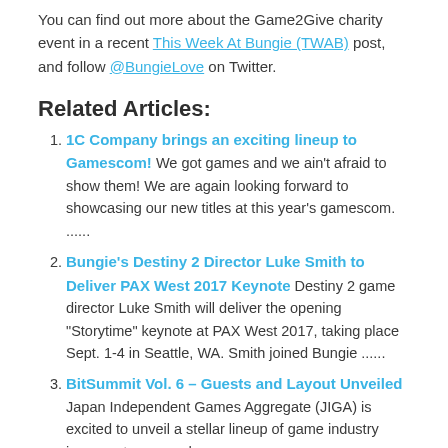You can find out more about the Game2Give charity event in a recent This Week At Bungie (TWAB) post, and follow @BungieLove on Twitter.
Related Articles:
1C Company brings an exciting lineup to Gamescom! We got games and we ain't afraid to show them! We are again looking forward to showcasing our new titles at this year's gamescom. ......
Bungie's Destiny 2 Director Luke Smith to Deliver PAX West 2017 Keynote Destiny 2 game director Luke Smith will deliver the opening "Storytime" keynote at PAX West 2017, taking place Sept. 1-4 in Seattle, WA. Smith joined Bungie ......
BitSummit Vol. 6 – Guests and Layout Unveiled Japan Independent Games Aggregate (JIGA) is excited to unveil a stellar lineup of game industry icons, veterans and